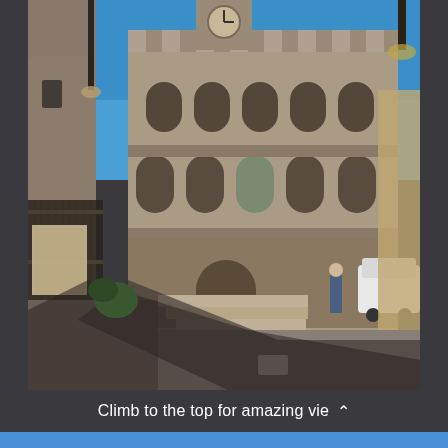[Figure (photo): A photograph of an Italian medieval town square, showing a large stone palace (likely Palazzo dei Priori in Montepulciano or similar Tuscan town hall) with battlements, arched windows, and a clock tower. Stone steps lead up to the building. A person stands near the steps and a white car is parked on the right. Cobblestone piazza in foreground with shadows. Blue sky above.]
Climb to the top for amazing vie ^